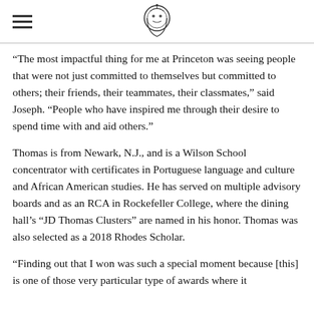[hamburger menu icon] [Princeton logo]
“The most impactful thing for me at Princeton was seeing people that were not just committed to themselves but committed to others; their friends, their teammates, their classmates,” said Joseph. “People who have inspired me through their desire to spend time with and aid others.”
Thomas is from Newark, N.J., and is a Wilson School concentrator with certificates in Portuguese language and culture and African American studies. He has served on multiple advisory boards and as an RCA in Rockefeller College, where the dining hall’s “JD Thomas Clusters” are named in his honor. Thomas was also selected as a 2018 Rhodes Scholar.
“Finding out that I won was such a special moment because [this] is one of those very particular type of awards where it